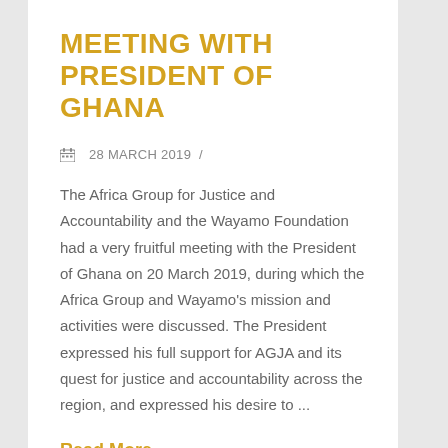MEETING WITH PRESIDENT OF GHANA
28 MARCH 2019  /
The Africa Group for Justice and Accountability and the Wayamo Foundation had a very fruitful meeting with the President of Ghana on 20 March 2019, during which the Africa Group and Wayamo's mission and activities were discussed. The President expressed his full support for AGJA and its quest for justice and accountability across the region, and expressed his desire to ...
Read More